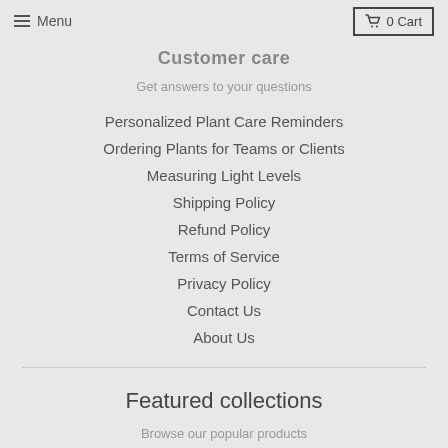Menu   0 Cart
Customer care
Get answers to your questions
Personalized Plant Care Reminders
Ordering Plants for Teams or Clients
Measuring Light Levels
Shipping Policy
Refund Policy
Terms of Service
Privacy Policy
Contact Us
About Us
Featured collections
Browse our popular products